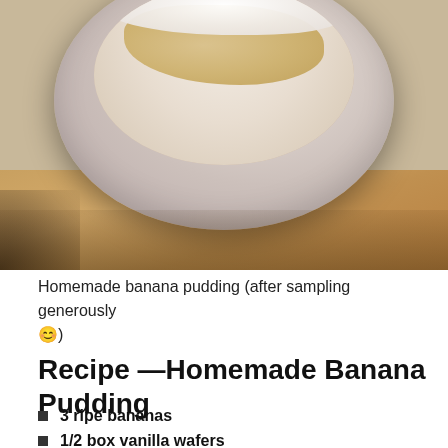[Figure (photo): A white ceramic bowl filled with homemade banana pudding topped with whipped cream and vanilla wafer pieces, sitting on a wooden surface. The pudding has been partially eaten.]
Homemade banana pudding (after sampling generously 😊)
Recipe —Homemade Banana Pudding
3 ripe bananas
1/2 box vanilla wafers